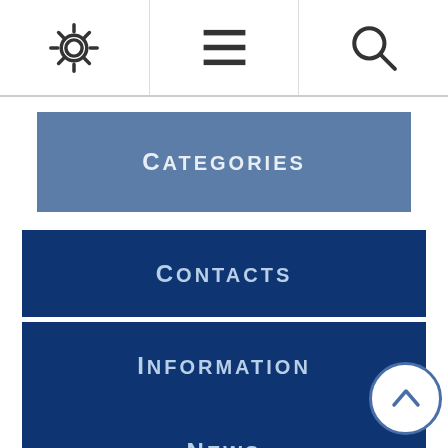[Figure (infographic): Top navigation bar with three icons: gear/settings, menu/hamburger lines, and search magnifying glass]
Categories
Contacts
Information
News
Recent Blogs
[Figure (illustration): Scroll-to-top circular button with upward chevron arrow]